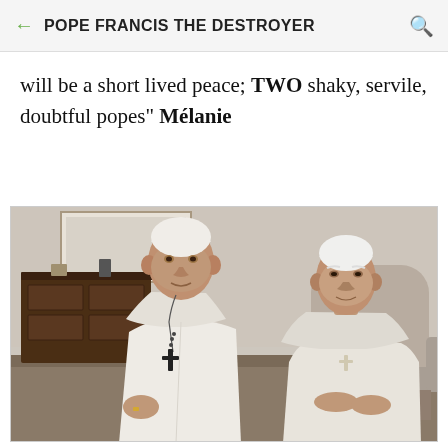POPE FRANCIS THE DESTROYER
will be a short lived peace; TWO shaky, servile, doubtful popes" Mélanie
[Figure (photo): Photograph of two men dressed in white papal robes and zucchetti seated together in a room. The figure on the left (Pope Francis) sits forward and wears a black pectoral cross. The figure on the right (Pope Benedict XVI) sits in a cushioned armchair. Dark wood furniture is visible in the background.]